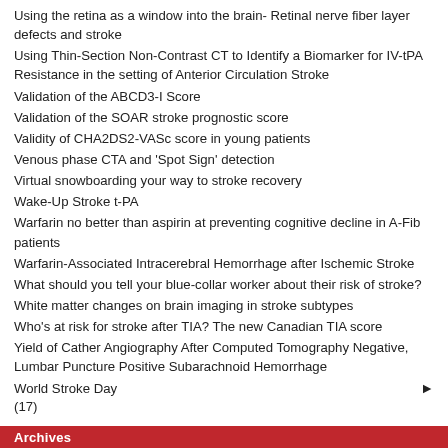Using the retina as a window into the brain- Retinal nerve fiber layer defects and stroke
Using Thin-Section Non-Contrast CT to Identify a Biomarker for IV-tPA Resistance in the setting of Anterior Circulation Stroke
Validation of the ABCD3-I Score
Validation of the SOAR stroke prognostic score
Validity of CHA2DS2-VASc score in young patients
Venous phase CTA and 'Spot Sign' detection
Virtual snowboarding your way to stroke recovery
Wake-Up Stroke t-PA
Warfarin no better than aspirin at preventing cognitive decline in A-Fib patients
Warfarin-Associated Intracerebral Hemorrhage after Ischemic Stroke
What should you tell your blue-collar worker about their risk of stroke?
White matter changes on brain imaging in stroke subtypes
Who's at risk for stroke after TIA? The new Canadian TIA score
Yield of Cather Angiography After Computed Tomography Negative, Lumbar Puncture Positive Subarachnoid Hemorrhage
World Stroke Day ▶
(17)
Archives